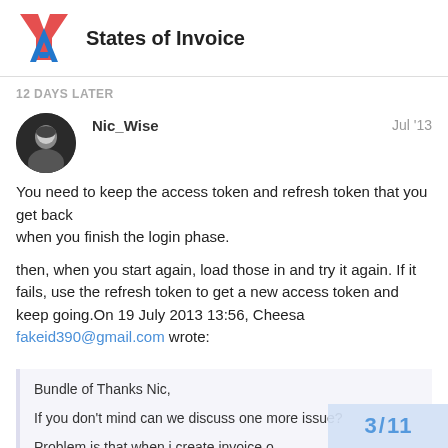States of Invoice
12 DAYS LATER
Nic_Wise  Jul '13
You need to keep the access token and refresh token that you get back
when you finish the login phase.

then, when you start again, load those in and try it again. If it fails, use the refresh token to get a new access token and keep going.On 19 July 2013 13:56, Cheesa fakeid390@gmail.com wrote:
Bundle of Thanks Nic,

If you don't mind can we discuss one more issue?

Problem is that when i create invoice o...
3 / 11